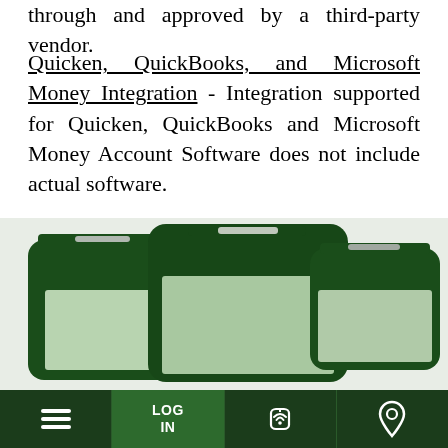through and approved by a third-party vendor.
Quicken, QuickBooks, and Microsoft Money Integration - Integration supported for Quicken, QuickBooks and Microsoft Money Account Software does not include actual software.
[Figure (illustration): Illustration of three mobile device screens (smartphone, tablet, and another device) in dark green color against a light gray background, representing mobile banking capability.]
Take Us On The Go!
Menu | LOG IN | Phone | Location